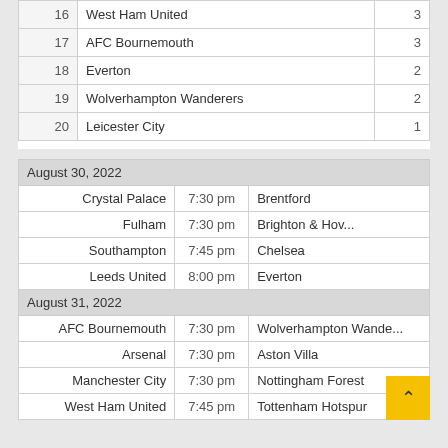| # | Team | Points |
| --- | --- | --- |
| 16 | West Ham United | 3 |
| 17 | AFC Bournemouth | 3 |
| 18 | Everton | 2 |
| 19 | Wolverhampton Wanderers | 2 |
| 20 | Leicester City | 1 |
| Home | Time | Away |
| --- | --- | --- |
| August 30, 2022 |  |  |
| Crystal Palace | 7:30 pm | Brentford |
| Fulham | 7:30 pm | Brighton & Hov... |
| Southampton | 7:45 pm | Chelsea |
| Leeds United | 8:00 pm | Everton |
| August 31, 2022 |  |  |
| AFC Bournemouth | 7:30 pm | Wolverhampton Wande... |
| Arsenal | 7:30 pm | Aston Villa |
| Manchester City | 7:30 pm | Nottingham Forest |
| West Ham United | 7:45 pm | Tottenham Hotspur |